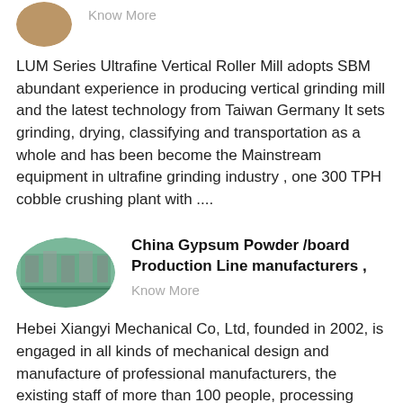[Figure (photo): Partial circular thumbnail image at top, showing machinery or industrial equipment]
Know More
LUM Series Ultrafine Vertical Roller Mill adopts SBM abundant experience in producing vertical grinding mill and the latest technology from Taiwan Germany It sets grinding, drying, classifying and transportation as a whole and has been become the Mainstream equipment in ultrafine grinding industry , one 300 TPH cobble crushing plant with ....
[Figure (photo): Oval thumbnail image showing an industrial factory floor with machinery and green floor]
China Gypsum Powder /board Production Line manufacturers ,
Know More
Hebei Xiangyi Mechanical Co, Ltd, founded in 2002, is engaged in all kinds of mechanical design and manufacture of professional manufacturers, the existing staff of more than 100 people, processing equipment more than 50 Taiwan....